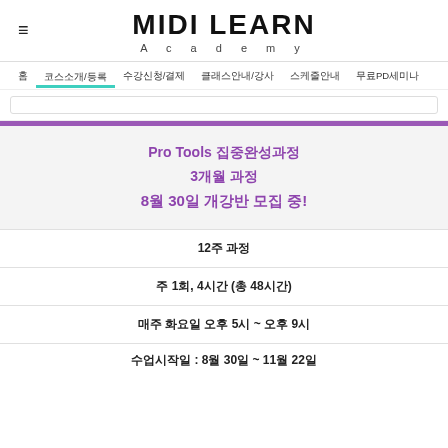MIDI LEARN Academy
홈 | 코스소개/등록 | 수강신청/결제 | 클래스안내/강사 | 스케줄안내 | 무료PD세미나
Pro Tools 집중완성과정
3개월 과정
8월 30일 개강반 모집 중!
12주 과정
주 1회, 4시간 (총 48시간)
매주 화요일 오후 5시 ~ 오후 9시
수업시작일 : 8월 30일 ~ 11월 22일